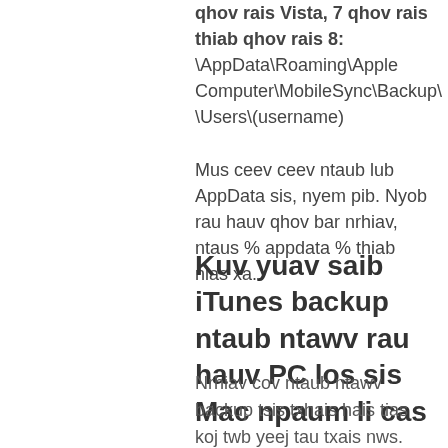qhov rais Vista, 7 qhov rais thiab qhov rais 8: \AppData\Roaming\Apple Computer\MobileSync\Backup\ \Users\(username)
Mus ceev ceev ntaub lub AppData sis, nyem pib. Nyob rau hauv qhov bar nrhiav, ntaus % appdata % thiab nias xa.
Kuv yuav saib iTunes backup ntaub ntawv rau hauv PC los sis Mac npaum li cas
Nrhiav cov ntaub ntawv backup tsis txhais hais tias koj twb yeej tau txais nws. Yuav kom tiv thaiv koj tus kheej